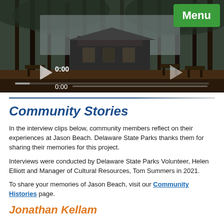[Figure (screenshot): Video player showing a forested park scene with a building in the background. Timestamp shows 0:00. A green 'Menu' button is in the top right corner. Video controls and a progress bar are visible at the bottom.]
Community Stories
In the interview clips below, community members reflect on their experiences at Jason Beach. Delaware State Parks thanks them for sharing their memories for this project.
Interviews were conducted by Delaware State Parks Volunteer, Helen Elliott and Manager of Cultural Resources, Tom Summers in 2021.
To share your memories of Jason Beach, visit our Community Histories page.
Jonathan Kellam